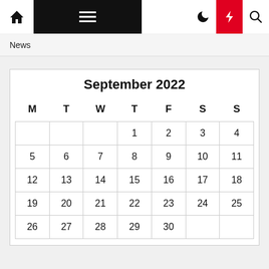Navigation bar with home, menu, moon, bolt, and search icons
News
| M | T | W | T | F | S | S |
| --- | --- | --- | --- | --- | --- | --- |
|  |  |  | 1 | 2 | 3 | 4 |
| 5 | 6 | 7 | 8 | 9 | 10 | 11 |
| 12 | 13 | 14 | 15 | 16 | 17 | 18 |
| 19 | 20 | 21 | 22 | 23 | 24 | 25 |
| 26 | 27 | 28 | 29 | 30 |  |  |